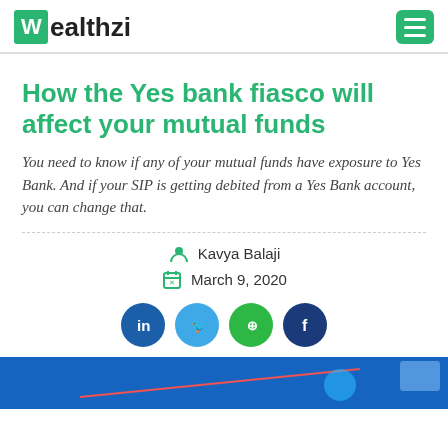Wealthzi
How the Yes bank fiasco will affect your mutual funds
You need to know if any of your mutual funds have exposure to Yes Bank. And if your SIP is getting debited from a Yes Bank account, you can change that.
Kavya Balaji
March 9, 2020
[Figure (other): Social share buttons: LinkedIn, Twitter, WhatsApp, Facebook]
[Figure (photo): Partial image visible at bottom of page, blue-toned background]